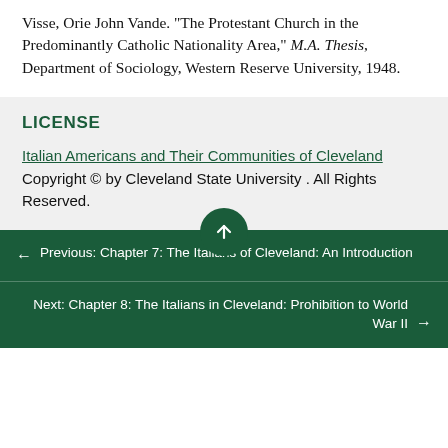Visse, Orie John Vande. "The Protestant Church in the Predominantly Catholic Nationality Area," M.A. Thesis, Department of Sociology, Western Reserve University, 1948.
LICENSE
Italian Americans and Their Communities of Cleveland Copyright © by Cleveland State University . All Rights Reserved.
← Previous: Chapter 7: The Italians of Cleveland: An Introduction
Next: Chapter 8: The Italians in Cleveland: Prohibition to World War II →